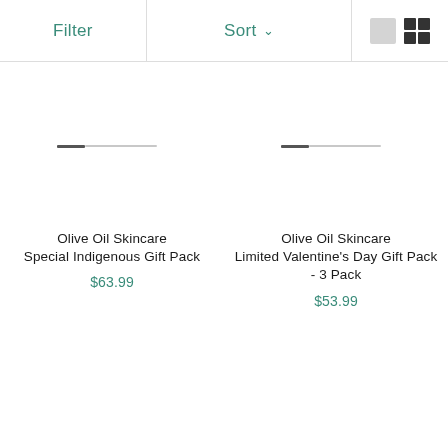Filter  Sort  [view toggle icons]
[Figure (illustration): Product image placeholder for Olive Oil Skincare Special Indigenous Gift Pack - left product card image area with a short dark line and a longer light gray line]
Olive Oil Skincare
Special Indigenous Gift Pack
$63.99
[Figure (illustration): Product image placeholder for Olive Oil Skincare Limited Valentine's Day Gift Pack - right product card image area with a short dark line and a longer light gray line]
Olive Oil Skincare
Limited Valentine's Day Gift Pack - 3 Pack
$53.99